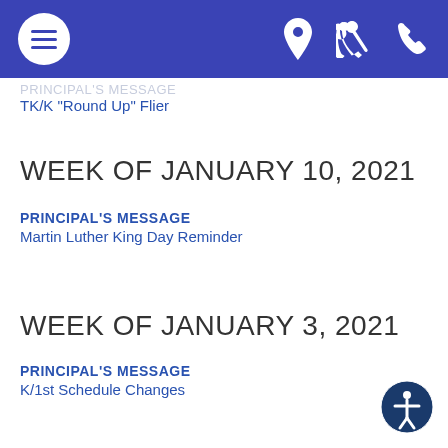TK/K "Round Up" Flier
WEEK OF JANUARY 10, 2021
PRINCIPAL'S MESSAGE
Martin Luther King Day Reminder
WEEK OF JANUARY 3, 2021
PRINCIPAL'S MESSAGE
K/1st Schedule Changes